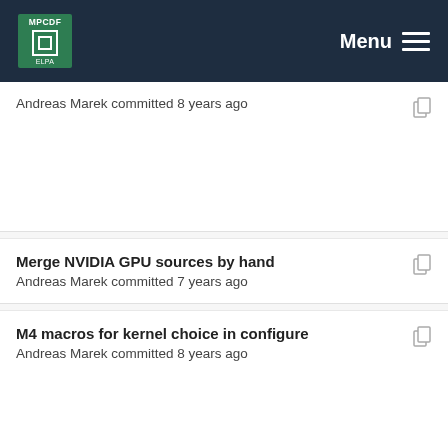MPCDF Menu
Andreas Marek committed 8 years ago
Merge NVIDIA GPU sources by hand
Andreas Marek committed 7 years ago
M4 macros for kernel choice in configure
Andreas Marek committed 8 years ago
ELPA_2014.06 prepare release
Andreas Marek committed 8 years ago
M4 macros for kernel choice in configure